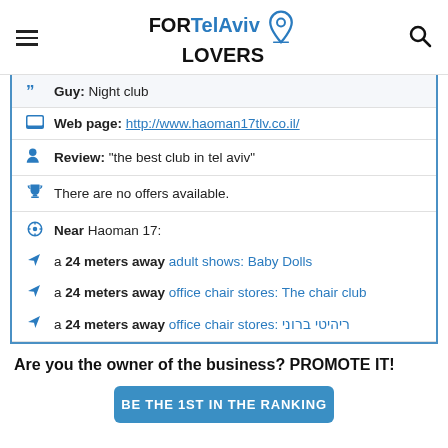FORTelAviv LOVERS
Guy: Night club
Web page: http://www.haoman17tlv.co.il/
Review: "the best club in tel aviv"
There are no offers available.
Near Haoman 17:
a 24 meters away adult shows: Baby Dolls
a 24 meters away office chair stores: The chair club
a 24 meters away office chair stores: ריהיטי ברוני
Are you the owner of the business? PROMOTE IT!
BE THE 1ST IN THE RANKING